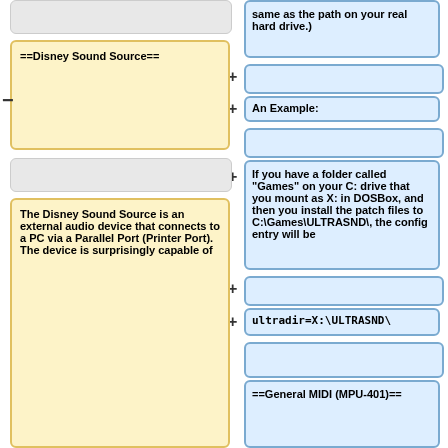same as the path on your real hard drive.)
An Example:
==Disney Sound Source==
If you have a folder called "Games" on your C: drive that you mount as X: in DOSBox, and then you install the patch files to C:\Games\ULTRASND\, the config entry will be
ultradir=X:\ULTRASND\
==General MIDI (MPU-401)==
The Disney Sound Source is an external audio device that connects to a PC via a Parallel Port (Printer Port).  The device is surprisingly capable of